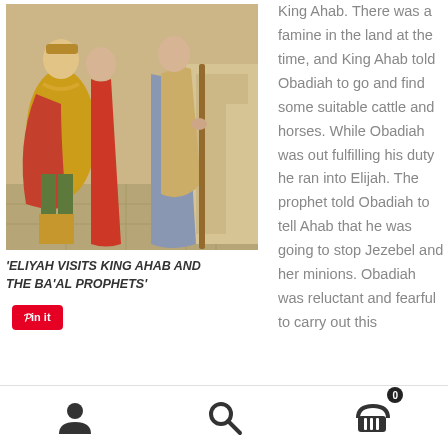[Figure (illustration): A classical painting depicting biblical figures in robes and armor, appearing to be Elijah visiting King Ahab and the Baal prophets. Figures wear ancient Middle Eastern dress, one in golden armor, others in flowing robes, one holding a staff.]
'ELIYAH VISITS KING AHAB AND THE BA'AL PROPHETS'
King Ahab. There was a famine in the land at the time, and King Ahab told Obadiah to go and find some suitable cattle and horses. While Obadiah was out fulfilling his duty he ran into Elijah. The prophet told Obadiah to tell Ahab that he was going to stop Jezebel and her minions. Obadiah was reluctant and fearful to carry out this
Navigation bar with user, search, and cart icons